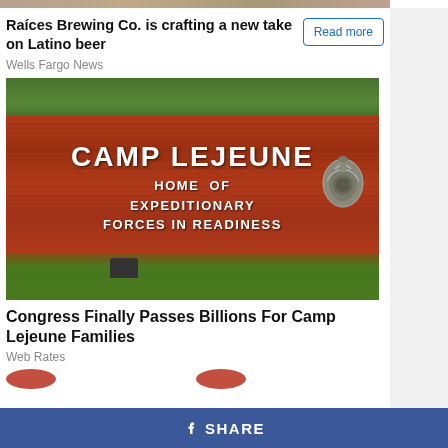[Figure (photo): Partial cropped photo at top (person/scene, cut off)]
Raíces Brewing Co. is crafting a new take on Latino beer
Read more
Wells Fargo News
[Figure (photo): Photograph of Camp Lejeune entrance sign on a brick wall reading 'CAMP LEJEUNE HOME OF EXPEDITIONARY FORCES IN READINESS' with Marine Corps emblem]
Congress Finally Passes Billions For Camp Lejeune Families
Web Rates
SHARE